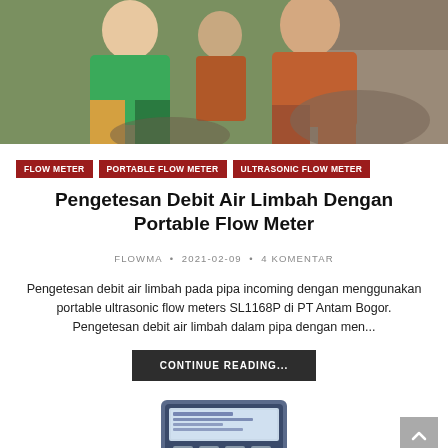[Figure (photo): Photo of people outdoors near rocky terrain, wearing colorful clothing (green, orange/red shirts)]
FLOW METER
PORTABLE FLOW METER
ULTRASONIC FLOW METER
Pengetesan Debit Air Limbah Dengan Portable Flow Meter
FLOWMA • 2021-02-09 • 4 KOMENTAR
Pengetesan debit air limbah pada pipa incoming dengan menggunakan portable ultrasonic flow meters SL1168P di PT Antam Bogor. Pengetesan debit air limbah dalam pipa dengan men...
CONTINUE READING...
[Figure (photo): Partial photo of an ultrasonic flow meter device (bottom of page)]